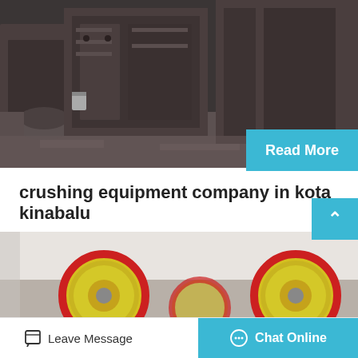[Figure (photo): Industrial machinery/crushing equipment in a factory setting, dark and rusty metal equipment]
Read More
crushing equipment company in kota kinabalu
Tan Chong Industrial Equipment Sabah Sdn Bhd is at Tan Chong Industrial Equipment Sabah Sdn Bhd. January 27 Kota Kinabalu, Malaysia . The All-New Aumark S, the perfect light-duty Super…
[Figure (photo): Industrial wheels or rollers with red and yellow coloring in a warehouse setting]
Leave Message
Chat Online